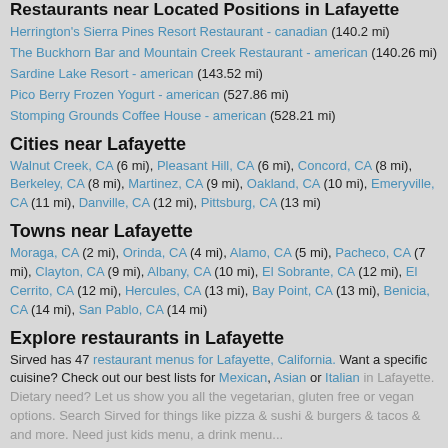Restaurants near Located Positions in Lafayette
Herrington's Sierra Pines Resort Restaurant - canadian (140.2 mi)
The Buckhorn Bar and Mountain Creek Restaurant - american (140.26 mi)
Sardine Lake Resort - american (143.52 mi)
Pico Berry Frozen Yogurt - american (527.86 mi)
Stomping Grounds Coffee House - american (528.21 mi)
Cities near Lafayette
Walnut Creek, CA (6 mi), Pleasant Hill, CA (6 mi), Concord, CA (8 mi), Berkeley, CA (8 mi), Martinez, CA (9 mi), Oakland, CA (10 mi), Emeryville, CA (11 mi), Danville, CA (12 mi), Pittsburg, CA (13 mi)
Towns near Lafayette
Moraga, CA (2 mi), Orinda, CA (4 mi), Alamo, CA (5 mi), Pacheco, CA (7 mi), Clayton, CA (9 mi), Albany, CA (10 mi), El Sobrante, CA (12 mi), El Cerrito, CA (12 mi), Hercules, CA (13 mi), Bay Point, CA (13 mi), Benicia, CA (14 mi), San Pablo, CA (14 mi)
Explore restaurants in Lafayette
Sirved has 47 restaurant menus for Lafayette, California. Want a specific cuisine? Check out our best lists for Mexican, Asian or Italian in Lafayette. Dietary need? Let us show you all the vegetarian, gluten free or vegan options. Search Sirved for things like pizza & sushi & burgers & tacos & and more. Need just kids menu, a drink menu...